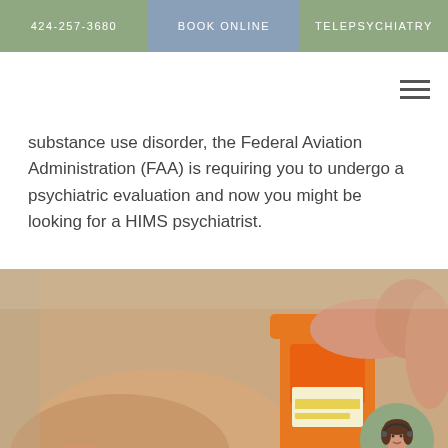424-257-3680  BOOK ONLINE  TELEPSYCHIATRY
substance use disorder, the Federal Aviation Administration (FAA) is requiring you to undergo a psychiatric evaluation and now you might be looking for a HIMS psychiatrist.
[Figure (photo): Close-up photo of two hands, one holding an orange prescription pill bottle and pouring white pills into the other palm. A small circular avatar of a woman with a headset is overlaid in the bottom-right corner.]